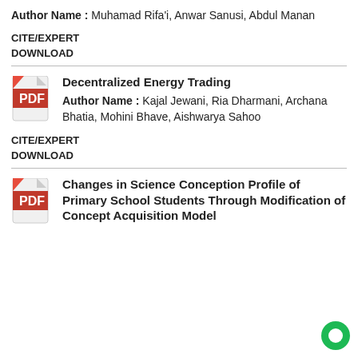Author Name : Muhamad Rifa'i, Anwar Sanusi, Abdul Manan
CITE/EXPERT
DOWNLOAD
[Figure (illustration): PDF document icon with red and white design]
Decentralized Energy Trading
Author Name : Kajal Jewani, Ria Dharmani, Archana Bhatia, Mohini Bhave, Aishwarya Sahoo
CITE/EXPERT
DOWNLOAD
[Figure (illustration): PDF document icon with red and white design]
Changes in Science Conception Profile of Primary School Students Through Modification of Concept Acquisition Model